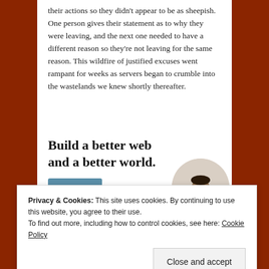their actions so they didn't appear to be as sheepish. One person gives their statement as to why they were leaving, and the next one needed to have a different reason so they're not leaving for the same reason. This wildfire of justified excuses went rampant for weeks as servers began to crumble into the wastelands we knew shortly thereafter.
[Figure (illustration): Advertisement banner: 'Build a better web and a better world.' with an Apply button and a circular portrait photo of a man in a beige shirt.]
Privacy & Cookies: This site uses cookies. By continuing to use this website, you agree to their use.
To find out more, including how to control cookies, see here: Cookie Policy
Close and accept